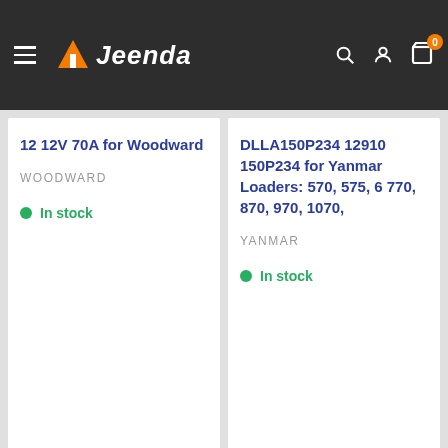Jeenda — navigation header with hamburger menu, logo, search, account, and cart icons
12 12V 70A for Woodward
WOODWARD
In stock
DLLA150P234 12910 150P234 for Yanmar Loaders: 570, 575, 6 770, 870, 970, 1070,
YANMAR
In stock
[Figure (illustration): Shipping box / package icon in navy blue outline style]
Delivery Worldwide
Delivery worldwide via DHL,FedEx,UPS express